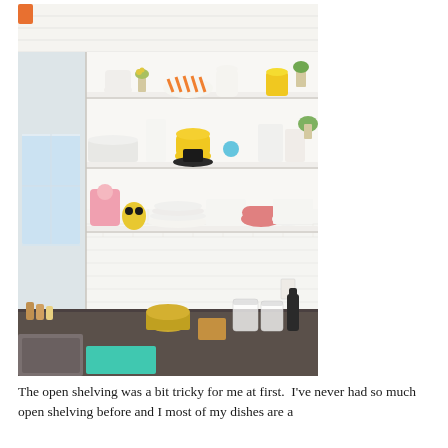[Figure (photo): A bright, white kitchen with open corner shelving displaying colorful dishes, bowls, cookware including a yellow pot and fondue set, pink oven mitt, various white ceramics, and glass jars. The counter is dark concrete with a sink visible in the lower-left corner. A turquoise tray is on the counter. White subway tile backsplash and beadboard ceiling visible.]
The open shelving was a bit tricky for me at first.  I've never had so much open shelving before and I most of my dishes are a